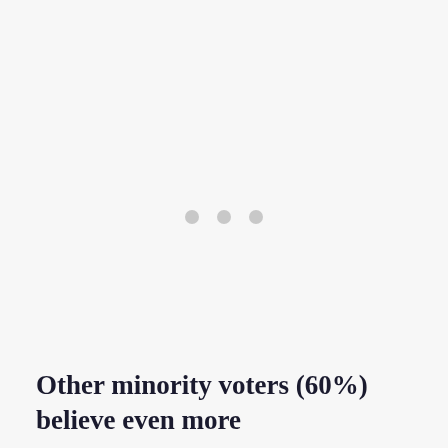[Figure (other): Three small grey dots centered on the page, likely a loading indicator or ellipsis placeholder for a chart or image.]
Other minority voters (60%) believe even more